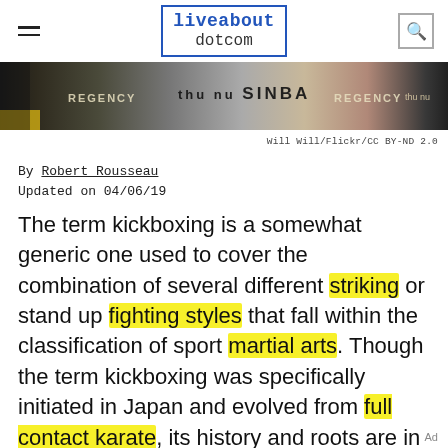liveabout dotcom
[Figure (photo): A strip of a martial arts / kickboxing event photo showing banners including text 'REGENCY', 'thu nu SINBA', 'REGENCY', 'thu nu']
Will Will/Flickr/CC BY-ND 2.0
By Robert Rousseau
Updated on 04/06/19
The term kickboxing is a somewhat generic one used to cover the combination of several different striking or stand up fighting styles that fall within the classification of sport martial arts. Though the term kickboxing was specifically initiated in Japan and evolved from full contact karate, its history and roots are in many ways tied to the Thailand martial